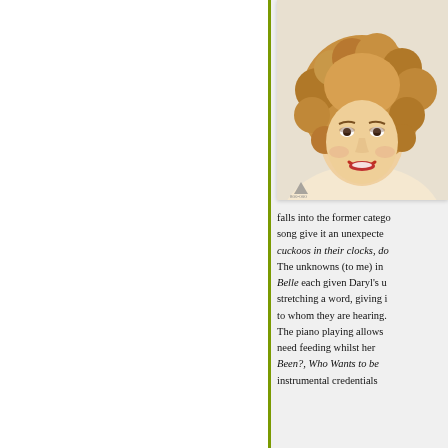[Figure (photo): Headshot photo of a woman with curly blonde hair, smiling, wearing red lipstick]
falls into the former catego... song give it an unexpecte... cuckoos in their clocks, do... The unknowns (to me) in... Belle each given Daryl's u... stretching a word, giving i... to whom they are hearing. The piano playing allows... need feeding whilst her... Been?, Who Wants to be... instrumental credentials...